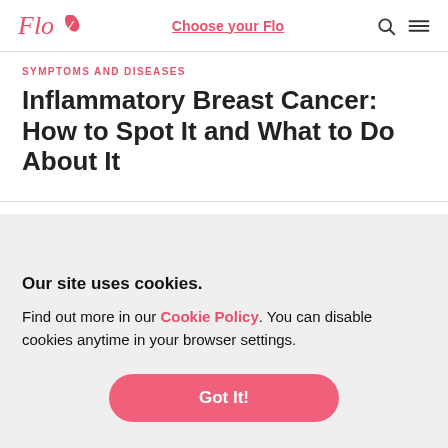Flo | Choose your Flo
SYMPTOMS AND DISEASES
Inflammatory Breast Cancer: How to Spot It and What to Do About It
Our site uses cookies.
Find out more in our Cookie Policy. You can disable cookies anytime in your browser settings.
Got It!